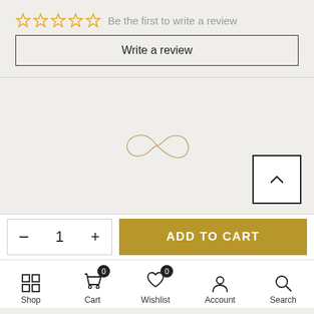[Figure (other): Five empty star icons (rating) followed by text 'Be the first to write a review']
Write a review
[Figure (other): Decorative infinity-like cursive logo/symbol in light gold/beige color centered on the page]
[Figure (other): Scroll-to-top button with upward chevron in bottom right]
- 1 +
ADD TO CART
[Figure (other): Bottom navigation bar with Shop, Cart (badge 0), Wishlist (badge 0), Account, Search icons and labels]